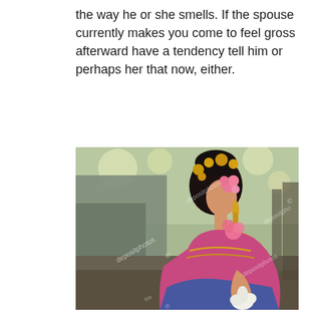the way he or she smells. If the spouse currently makes you come to feel gross afterward have a tendency tell him or perhaps her that now, either.
[Figure (photo): A woman in traditional Thai costume wearing a pink and blue outfit with gold jewelry and golden hair ornaments, holding a white lotus flower, photographed in profile view. Depositphotos watermark visible.]